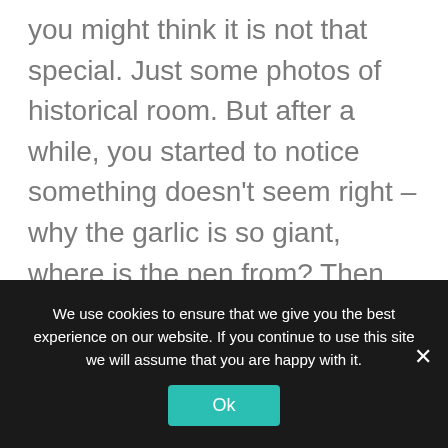you might think it is not that special. Just some photos of historical room. But after a while, you started to notice something doesn't seem right – why the garlic is so giant, where is the pen from? Then you start to be aware, OMG, these super realistic rooms are actually miniature models.

According to Chris, these finely-detailed, expertly-crafted 1:12 scale historic building interiors sometimes can take from one month to almost two years to complete. Toledo's inspiration for his small
We use cookies to ensure that we give you the best experience on our website. If you continue to use this site we will assume that you are happy with it.